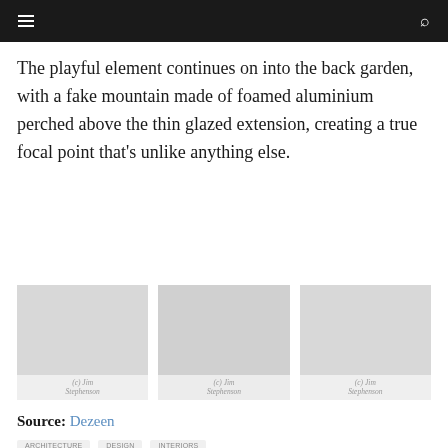Navigation bar with hamburger menu and search icon
The playful element continues on into the back garden, with a fake mountain made of foamed aluminium perched above the thin glazed extension, creating a true focal point that's unlike anything else.
[Figure (photo): Three photo placeholders side by side, each captioned '(c) Jim Stephenson']
(c) Jim Stephenson
(c) Jim Stephenson
(c) Jim Stephenson
Source: Dezeen